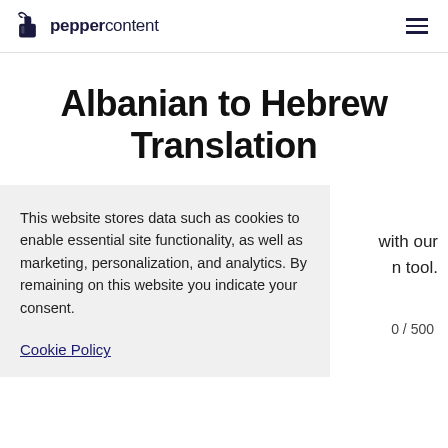peppercontent
Albanian to Hebrew Translation
This website stores data such as cookies to enable essential site functionality, as well as marketing, personalization, and analytics. By remaining on this website you indicate your consent.
with our n tool.
0 / 500
Cookie Policy